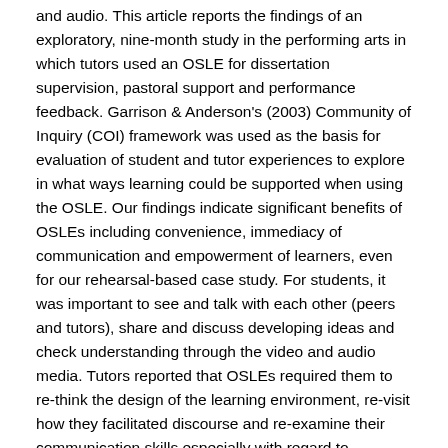and audio. This article reports the findings of an exploratory, nine-month study in the performing arts in which tutors used an OSLE for dissertation supervision, pastoral support and performance feedback. Garrison & Anderson's (2003) Community of Inquiry (COI) framework was used as the basis for evaluation of student and tutor experiences to explore in what ways learning could be supported when using the OSLE. Our findings indicate significant benefits of OSLEs including convenience, immediacy of communication and empowerment of learners, even for our rehearsal-based case study. For students, it was important to see and talk with each other (peers and tutors), share and discuss developing ideas and check understanding through the video and audio media. Tutors reported that OSLEs required them to re-think the design of the learning environment, re-visit how they facilitated discourse and re-examine their communication skills especially with regard to feedback on student performance. Technical